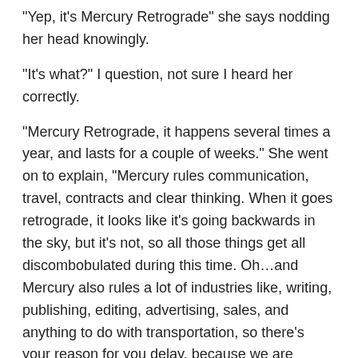“Yep, it’s Mercury Retrograde” she says nodding her head knowingly.
“It’s what?” I question, not sure I heard her correctly.
“Mercury Retrograde, it happens several times a year, and lasts for a couple of weeks.”  She went on to explain, “Mercury rules communication, travel, contracts and clear thinking.  When it goes retrograde, it looks like it’s going backwards in the sky, but it’s not, so all those things get all discombobulated during this time.  Oh…and Mercury also rules a lot of industries like, writing, publishing, editing, advertising, sales, and anything to do with transportation, so there’s your reason for you delay, because we are smack dab in the middle of it, and it won’t be over for another couple of weeks.”
“Great, just great.  You do remember I’m a blogger, I’ve